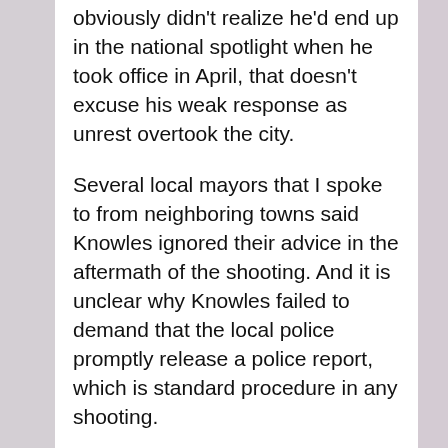obviously didn't realize he'd end up in the national spotlight when he took office in April, that doesn't excuse his weak response as unrest overtook the city.
Several local mayors that I spoke to from neighboring towns said Knowles ignored their advice in the aftermath of the shooting. And it is unclear why Knowles failed to demand that the local police promptly release a police report, which is standard procedure in any shooting.
The county getting involved didn't make things any better, and placing Robert McCulloch in charge of the prosecution, a man who was seen as having strong local connections to police, was bound to leave residents skeptical. And local civic groups who